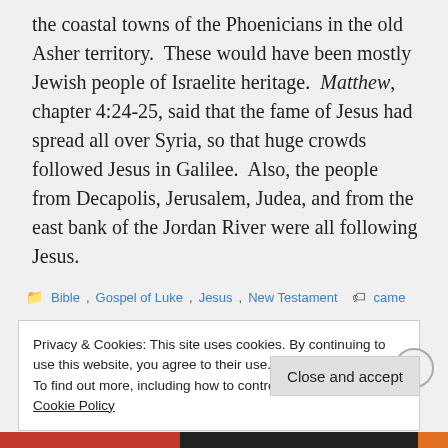the coastal towns of the Phoenicians in the old Asher territory.  These would have been mostly Jewish people of Israelite heritage.  Matthew, chapter 4:24-25, said that the fame of Jesus had spread all over Syria, so that huge crowds followed Jesus in Galilee.  Also, the people from Decapolis, Jerusalem, Judea, and from the east bank of the Jordan River were all following Jesus.
Bible, Gospel of Luke, Jesus, New Testament   came
Privacy & Cookies: This site uses cookies. By continuing to use this website, you agree to their use.
To find out more, including how to control cookies, see here: Cookie Policy
Close and accept